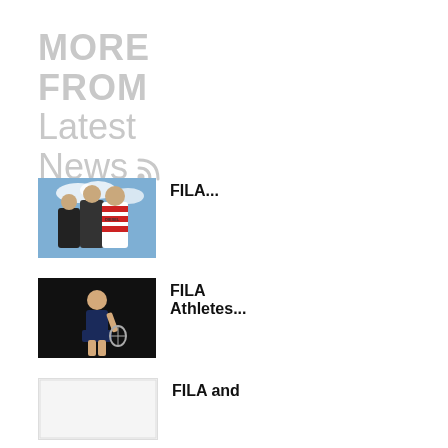MORE FROM Latest News
FILA...
FILA Athletes...
FILA and